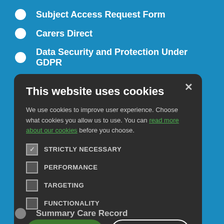Subject Access Request Form
Carers Direct
Data Security and Protection Under GDPR
Bowel Cancer Screening
This website uses cookies
We use cookies to improve user experience. Choose what cookies you allow us to use. You can read more about our cookies before you choose.
STRICTLY NECESSARY
PERFORMANCE
TARGETING
FUNCTIONALITY
Summary Care Record